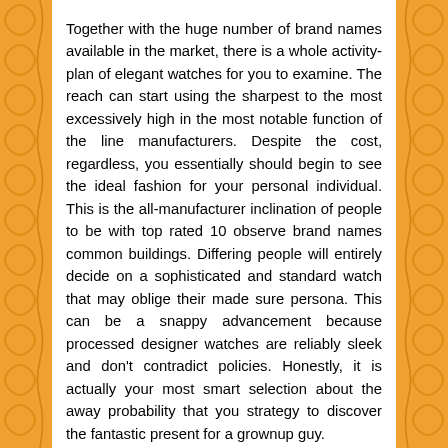Together with the huge number of brand names available in the market, there is a whole activity-plan of elegant watches for you to examine. The reach can start using the sharpest to the most excessively high in the most notable function of the line manufacturers. Despite the cost, regardless, you essentially should begin to see the ideal fashion for your personal individual. This is the all-manufacturer inclination of people to be with top rated 10 observe brand names common buildings. Differing people will entirely decide on a sophisticated and standard watch that may oblige their made sure persona. This can be a snappy advancement because processed designer watches are reliably sleek and don't contradict policies. Honestly, it is actually your most smart selection about the away probability that you strategy to discover the fantastic present for a grownup guy.
In the away from opportunity that you require model luxurious watch, you can find brain coming tactics of firms that give different plans and manufacturers of designer dong ho daniel wellington watches that